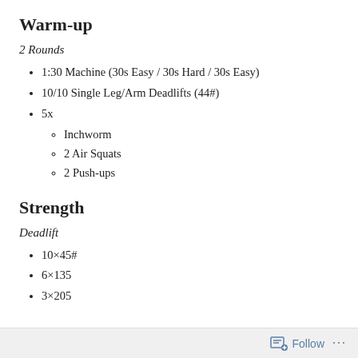Warm-up
2 Rounds
1:30 Machine (30s Easy / 30s Hard / 30s Easy)
10/10 Single Leg/Arm Deadlifts (44#)
5x
Inchworm
2 Air Squats
2 Push-ups
Strength
Deadlift
10×45#
6×135
3×205